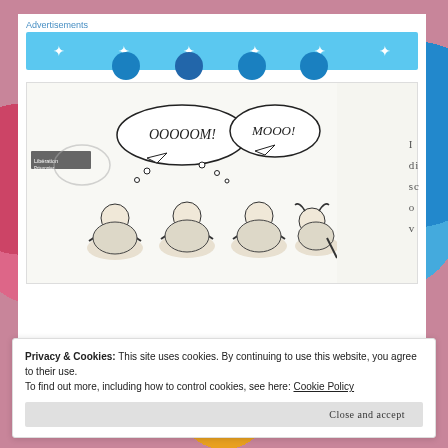Advertisements
[Figure (illustration): Blue advertisement banner with white star/plus symbols and partially visible circular icons at the bottom]
[Figure (illustration): Cartoon of three meditating monks with 'OOOOOM!' speech bubble and a cow with 'MOOO!' thought bubble. Liberation Prisonnier logo in corner.]
I di sc o v
Privacy & Cookies: This site uses cookies. By continuing to use this website, you agree to their use.
To find out more, including how to control cookies, see here: Cookie Policy
Close and accept